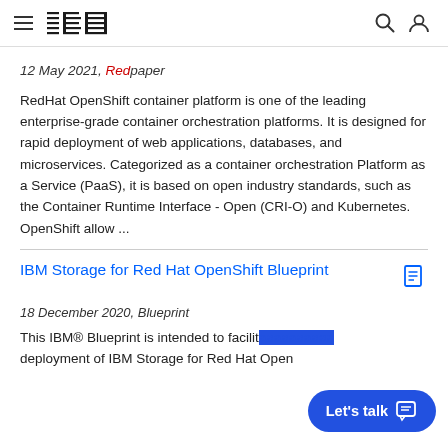IBM navigation header with hamburger menu, IBM logo, search and user icons
12 May 2021, Redpaper
RedHat OpenShift container platform is one of the leading enterprise-grade container orchestration platforms. It is designed for rapid deployment of web applications, databases, and microservices. Categorized as a container orchestration Platform as a Service (PaaS), it is based on open industry standards, such as the Container Runtime Interface - Open (CRI-O) and Kubernetes. OpenShift allow ...
IBM Storage for Red Hat OpenShift Blueprint
18 December 2020, Blueprint
This IBM® Blueprint is intended to facilitate deployment of IBM Storage for Red Hat OpenShift